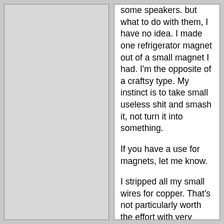some speakers. but what to do with them, I have no idea. I made one refrigerator magnet out of a small magnet I had. I'm the opposite of a craftsy type. My instinct is to take small useless shit and smash it, not turn it into something.
If you have a use for magnets, let me know.
I stripped all my small wires for copper. That's not particularly worth the effort with very small things, but there's also the exercise value. Then you have transformers, heat sinks and such. Even scrap iron such as in computer cage is worth a little something, .10 a pound or .30. Aluminum cans are worth .50 at moment. Were .70 a few years ago. Almost every kind of metal is worth a little something. Brass and copper are worth a good deal, a buck or two bucks per pound. It's new to me and interesting, but I have finally triaged all my old electronics